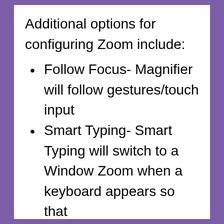Additional options for configuring Zoom include:
Follow Focus- Magnifier will follow gestures/touch input
Smart Typing- Smart Typing will switch to a Window Zoom when a keyboard appears so that